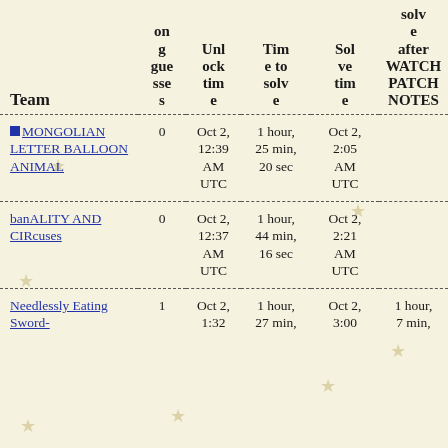| Team | on g guesse s | Unl ock tim e | Tim e to solv e | Sol ve tim e | solv e after WATCH PATCH NOTES |
| --- | --- | --- | --- | --- | --- |
| 🟦 MONGOLIAN LETTER BALLOON ANIMAL | 0 | Oct 2, 12:39 AM UTC | 1 hour, 25 min, 20 sec | Oct 2, 2:05 AM UTC |  |
| banALITY AND CIRcuses | 0 | Oct 2, 12:37 AM UTC | 1 hour, 44 min, 16 sec | Oct 2, 2:21 AM UTC |  |
| Needlessly Eating Sword- | 1 | Oct 2, 1:32 | 1 hour, 27 min, | Oct 2, 3:00 | 1 hour, 7 min, |